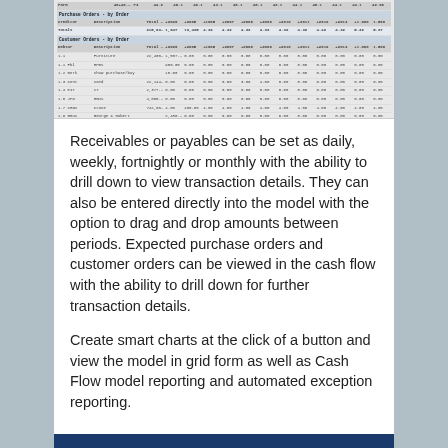[Figure (screenshot): Spreadsheet screenshot showing Purchase Orders by Order and Customer Orders by Order tables with multiple columns of financial data]
Receivables or payables can be set as daily, weekly, fortnightly or monthly with the ability to drill down to view transaction details. They can also be entered directly into the model with the option to drag and drop amounts between periods. Expected purchase orders and customer orders can be viewed in the cash flow with the ability to drill down for further transaction details.
Create smart charts at the click of a button and view the model in grid form as well as Cash Flow model reporting and automated exception reporting.
[Figure (screenshot): Blue bar visible at bottom of page, part of another screenshot]